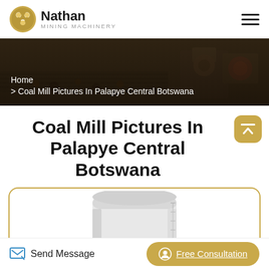Nathan Mining Machinery
[Figure (photo): Hero banner with mining machinery background, breadcrumb navigation showing Home > Coal Mill Pictures In Palapye Central Botswana]
Coal Mill Pictures In Palapye Central Botswana
[Figure (photo): White cylindrical coal mill machine inside a rounded gold-bordered card]
Send Message | Free Consultation